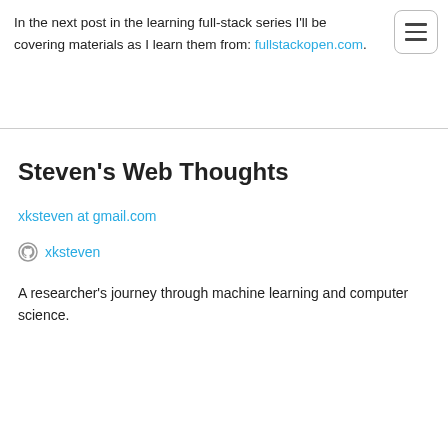In the next post in the learning full-stack series I'll be covering materials as I learn them from: fullstackopen.com.
Steven's Web Thoughts
xksteven at gmail.com
xksteven
A researcher's journey through machine learning and computer science.